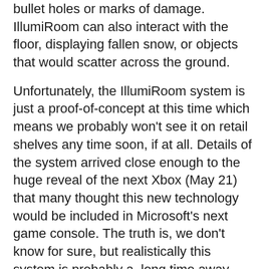bullet holes or marks of damage. IllumiRoom can also interact with the floor, displaying fallen snow, or objects that would scatter across the ground.
Unfortunately, the IllumiRoom system is just a proof-of-concept at this time which means we probably won't see it on retail shelves any time soon, if at all. Details of the system arrived close enough to the huge reveal of the next Xbox (May 21) that many thought this new technology would be included in Microsoft's next game console. The truth is, we don't know for sure, but realistically this system is probably a  long time away from being available to consumers.
Check out the video below to see the IllumiRoom system explained in more detail